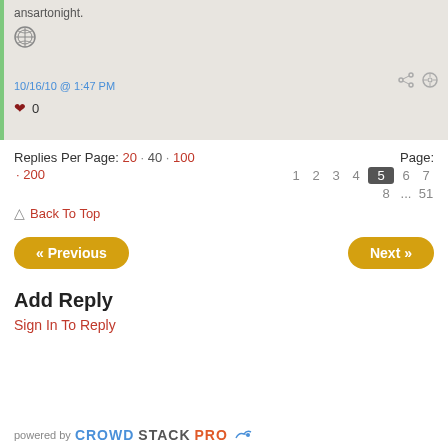[Figure (screenshot): Comment block with green left border, avatar icon, timestamp '10/16/10 @ 1:47 PM', share and settings icons, and heart/likes row showing 0 likes]
Replies Per Page: 20 · 40 · 100 · 200
Page: 1 2 3 4 5 6 7 8 ... 51
Back To Top
« Previous
Next »
Add Reply
Sign In To Reply
powered by CROWDSTACKPRO